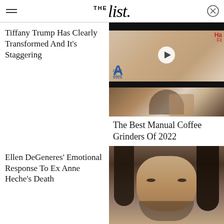THE List
Tiffany Trump Has Clearly Transformed And It's Staggering
[Figure (photo): Video thumbnail showing a young blonde woman at a film event with play button overlay]
[Figure (photo): Image of a coffee grinder product]
The Best Manual Coffee Grinders Of 2022
Ellen DeGeneres' Emotional Response To Ex Anne Heche's Death
[Figure (photo): Close-up portrait of a man with long dark hair]